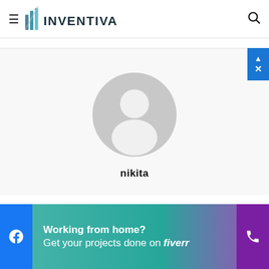INVENTIVA
[Figure (illustration): Default user avatar: grey circle with white person silhouette inside, centered on a light grey background]
nikita
[Figure (infographic): Advertisement banner: Working from home? Get your projects done on fiverr, with Facebook icon on left and phone icon on right, teal-to-purple gradient background]